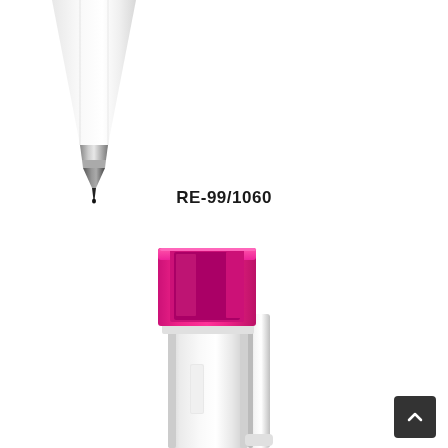[Figure (photo): Close-up of a white ballpoint pen tip showing the metal nib and tip detail against white background]
RE-99/1060
[Figure (photo): Close-up of the top/back end of a white pen with a bright pink/magenta clip or cap piece, showing the pen barrel in white plastic with the pink accent piece at the top]